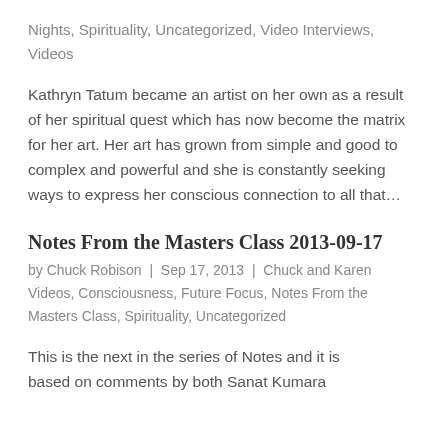Nights, Spirituality, Uncategorized, Video Interviews, Videos
Kathryn Tatum became an artist on her own as a result of her spiritual quest which has now become the matrix for her art. Her art has grown from simple and good to complex and powerful and she is constantly seeking ways to express her conscious connection to all that…
Notes From the Masters Class 2013-09-17
by Chuck Robison  |  Sep 17, 2013  |  Chuck and Karen Videos, Consciousness, Future Focus, Notes From the Masters Class, Spirituality, Uncategorized
This is the next in the series of Notes and it is based on comments by both Sanat Kumara